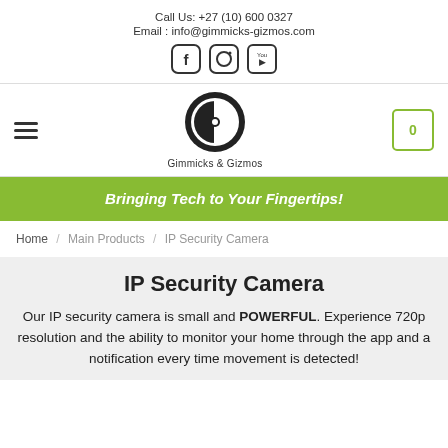Call Us: +27 (10) 600 0327
Email : info@gimmicks-gizmos.com
[Figure (logo): Social media icons: Facebook, Instagram, YouTube]
[Figure (logo): Gimmicks & Gizmos circular logo with G&G initials and brand name below]
Bringing Tech to Your Fingertips!
Home / Main Products / IP Security Camera
IP Security Camera
Our IP security camera is small and POWERFUL. Experience 720p resolution and the ability to monitor your home through the app and a notification every time movement is detected!